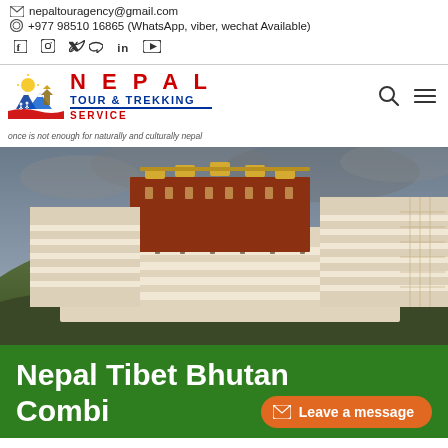nepaltouragency@gmail.com
+977 98510 16865 (WhatsApp, viber, wechat Available)
[Figure (logo): Nepal Tour & Trekking Service logo with mountain, sun, and trekkers illustration. Red NEPAL text, blue TOUR & TREKKING text, red SERVICE text, blue underline. Tagline: once is not enough for naturally and culturally nepal]
[Figure (photo): Photo of Potala Palace (Tibet) — massive white and red multi-tiered palace complex built on a hill, dramatic cloudy sky, green hillside in foreground]
Nepal Tibet Bhutan Combined Tour